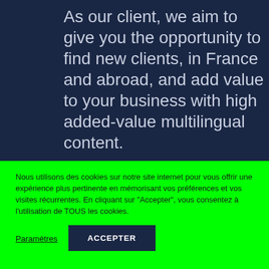As our client, we aim to give you the opportunity to find new clients, in France and abroad, and add value to your business with high added-value multilingual content.
Nous utilisons des cookies sur notre site internet pour vous offrir une expérience plus pertinente en mémorisant vos préférences et vos visites récurrentes. En cliquant sur "Accepter", vous consentez à l'utilisation de TOUS les cookies.
Paramètres
ACCEPTER